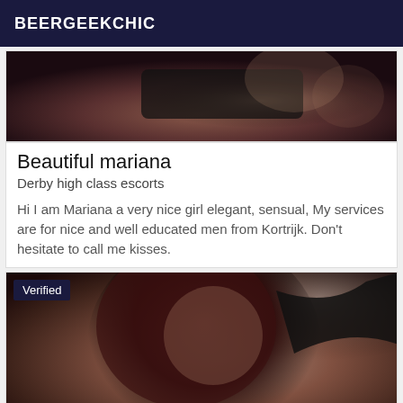BEERGEEKCHIC
[Figure (photo): Partial photo of a woman in black lingerie lying down, cropped at torso level]
Beautiful mariana
Derby high class escorts
Hi I am Mariana a very nice girl elegant, sensual, My services are for nice and well educated men from Kortrijk. Don't hesitate to call me kisses.
[Figure (photo): Photo of a woman with long dark hair in black gloves, face blurred, wearing black outfit with gold necklace. Has a 'Verified' badge overlay in top-left corner.]